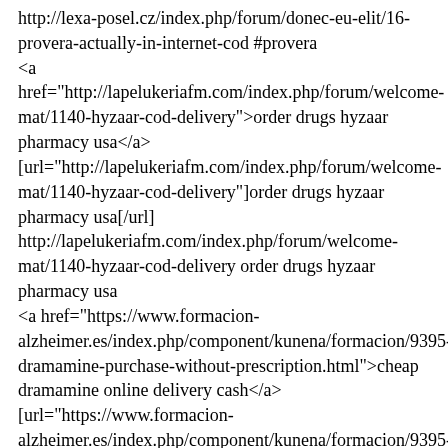http://lexa-posel.cz/index.php/forum/donec-eu-elit/16-provera-actually-in-internet-cod #provera
<a href="http://lapelukeriafm.com/index.php/forum/welcome-mat/1140-hyzaar-cod-delivery">order drugs hyzaar pharmacy usa</a>
[url="http://lapelukeriafm.com/index.php/forum/welcome-mat/1140-hyzaar-cod-delivery"]order drugs hyzaar pharmacy usa[/url]
http://lapelukeriafm.com/index.php/forum/welcome-mat/1140-hyzaar-cod-delivery order drugs hyzaar pharmacy usa
<a href="https://www.formacion-alzheimer.es/index.php/component/kunena/formacion/9395-dramamine-purchase-without-prescription.html">cheap dramamine online delivery cash</a>
[url="https://www.formacion-alzheimer.es/index.php/component/kunena/formacion/9395-dramamine-purchase-without-prescription.html"]cheap dramamine online delivery cash[/url]
https://www.formacion-alzheimer.es/index.php/component/kunena/formacion/9395-dramamine-purchase-without-prescription.html cheap